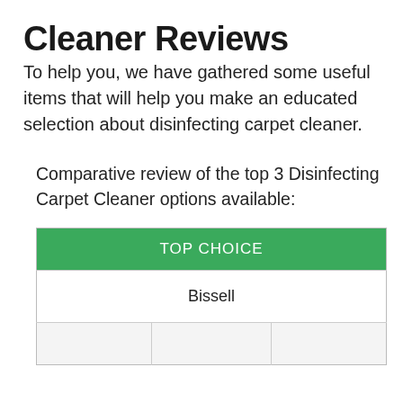Cleaner Reviews
To help you, we have gathered some useful items that will help you make an educated selection about disinfecting carpet cleaner.
Comparative review of the top 3 Disinfecting Carpet Cleaner options available:
| TOP CHOICE |
| --- |
| Bissell |
|  |  |  |